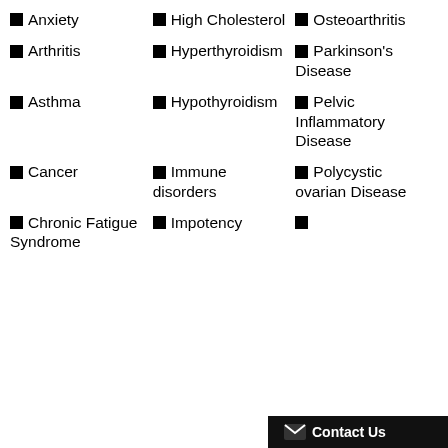Anxiety
High Cholesterol
Osteoarthritis
Arthritis
Hyperthyroidism
Parkinson's Disease
Asthma
Hypothyroidism
Pelvic Inflammatory Disease
Cancer
Immune disorders
Polycystic ovarian Disease
Chronic Fatigue Syndrome
Impotency